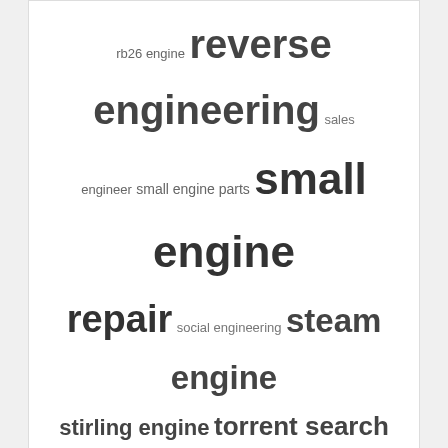[Figure (other): Tag cloud with engine-related terms in varying font sizes: rb26 engine, reverse engineering, sales engineer, small engine parts, small engine repair, social engineering, steam engine, stirling engine, torrent search engine, unity game engine, v12 engine, yahoo search engine]
Related Links  바카라사이트  온라인카지노  카지노  바카라  온라인바카라  카지노사이트  v9bet  10Bet  토토  사설
SPONSORSHIP BENEFITS
[Figure (logo): Rider Casino logo - red poker chip with spade symbol and text RIDER casino]
[Figure (logo): The king of dealer banner - purple/blue background with orange and white text]
[Figure (logo): 1kookoo.kr banner - black background with yellow dotted border and styled text]